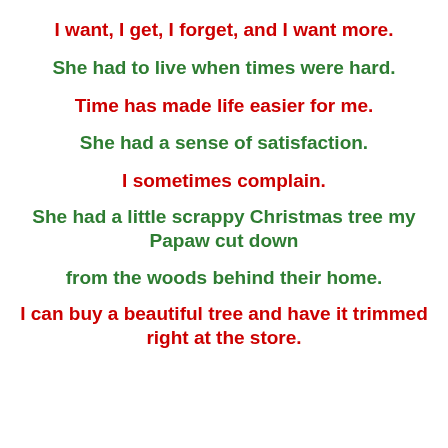I want, I get, I forget, and I want more.
She had to live when times were hard.
Time has made life easier for me.
She had a sense of satisfaction.
I sometimes complain.
She had a little scrappy Christmas tree my Papaw cut down
from the woods behind their home.
I can buy a beautiful tree and have it trimmed right at the store.